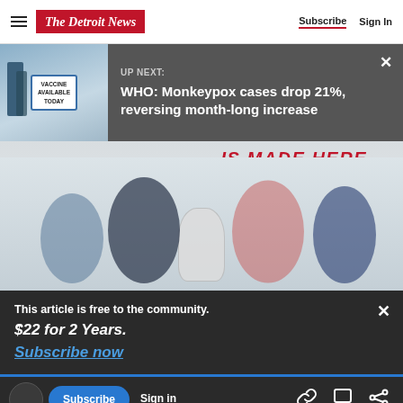The Detroit News — Subscribe | Sign In
[Figure (screenshot): UP NEXT banner with vaccine sign thumbnail and headline: WHO: Monkeypox cases drop 21%, reversing month-long increase]
[Figure (photo): Golf advertisement with text 'IS MADE HERE' and four golfers posing]
This article is free to the community.
$22 for 2 Years.
Subscribe now
Subscribe | Sign in | link | comment | share icons